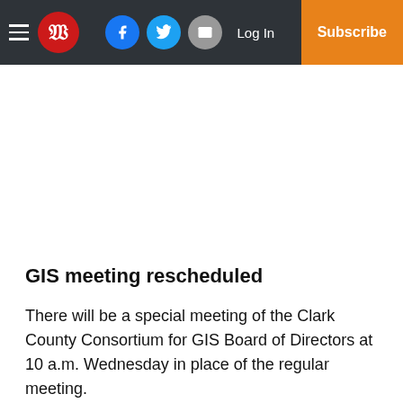W | Log In | Subscribe
GIS meeting rescheduled
There will be a special meeting of the Clark County Consortium for GIS Board of Directors at 10 a.m. Wednesday in place of the regular meeting.